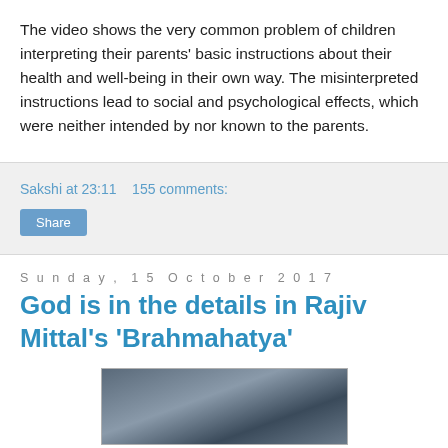The video shows the very common problem of children interpreting their parents' basic instructions about their health and well-being in their own way. The misinterpreted instructions lead to social and psychological effects, which were neither intended by nor known to the parents.
Sakshi at 23:11    155 comments:
Share
Sunday, 15 October 2017
God is in the details in Rajiv Mittal's 'Brahmahatya'
[Figure (photo): Partially visible photograph, appears to show a person, grayscale/dark tones, cropped at bottom of page]